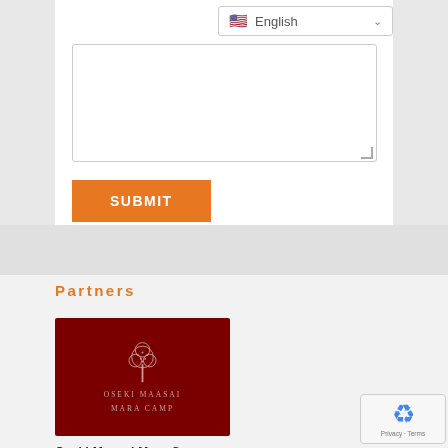[Figure (screenshot): Language selector dropdown showing US flag and 'English' text with a chevron arrow]
[Figure (screenshot): Text area input box for user comment/message entry]
[Figure (screenshot): Orange SUBMIT button]
Partners
[Figure (logo): Oseki Maasai Mara Camp logo - dark red background with stylized tree illustration and text 'OSEKI MAASAI MARA CAMP']
Oseki Maasai Mara Camp
[Figure (logo): reCAPTCHA widget with Privacy and Terms links]